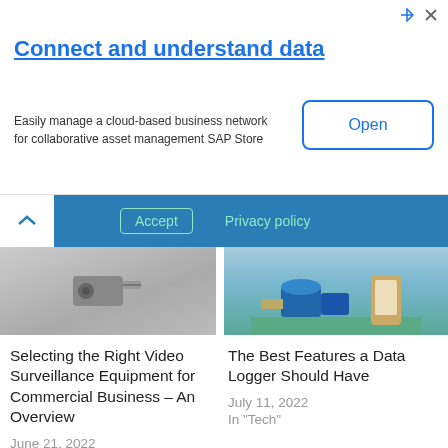[Figure (screenshot): Ad banner with SAP promotional content - Connect and understand data]
Connect and understand data
Easily manage a cloud-based business network for collaborative asset management SAP Store
[Figure (screenshot): Cookie consent bar with Accept and Privacy policy buttons]
[Figure (photo): Video surveillance equipment image]
[Figure (photo): Data logger illustration with industrial pump and mobile device]
Selecting the Right Video Surveillance Equipment for Commercial Business – An Overview
June 21, 2022
In "Tech"
The Best Features a Data Logger Should Have
July 11, 2022
In "Tech"